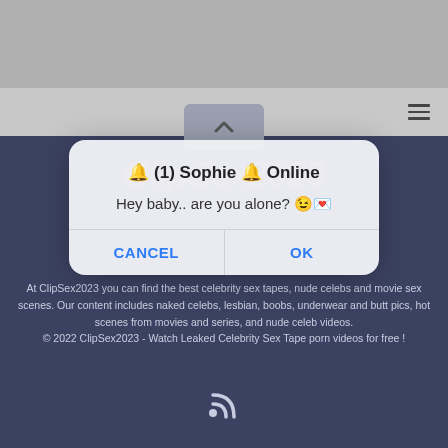[Figure (screenshot): Gray top navigation bar area with hamburger menu icon on the right]
[Figure (screenshot): Dark blue-gray footer section with watermark text, popup dialog, body text, and RSS icon]
🔔 (1) Sophie 🔔 Online
Hey baby.. are you alone? 😉💌
CANCEL
OK
At ClipSex2023 you can find the best celebrity sex tapes, nude celebs and movie sex scenes. Our content includes naked celebs, lesbian, boobs, underwear and butt pics, hot scenes from movies and series, and nude celeb videos.
© 2022 ClipSex2023 - Watch Leaked Celebrity Sex Tape porn videos for free !